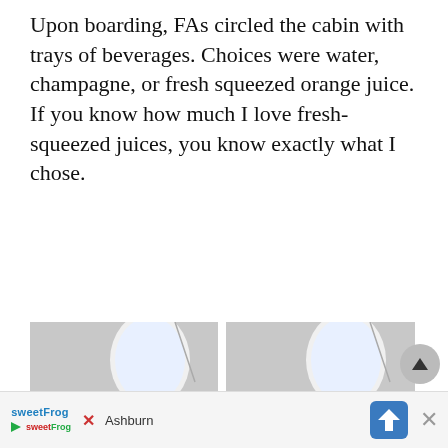Upon boarding, FAs circled the cabin with trays of beverages. Choices were water, champagne, or fresh squeezed orange juice. If you know how much I love fresh-squeezed juices, you know exactly what I chose.
[Figure (photo): Two side-by-side photos on an airplane. Left photo: a tall champagne flute filled with orange juice sitting on a dark tray table, airplane window visible in background. Right photo: the same glass now empty with just a few drops remaining, same background.]
[Figure (infographic): Advertisement bar at the bottom: sweetFrog frozen yogurt ad with logo, brand name in blue, and location 'Ashburn'. Blue navigation arrow icon on right and X close button.]